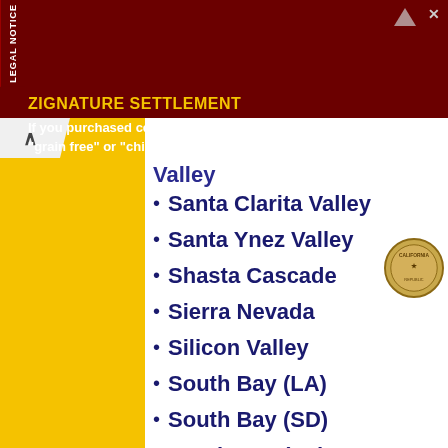[Figure (infographic): Legal notice advertisement banner for Zignature Settlement in dark red background with yellow and white text]
Valley (partially visible at top)
Santa Clarita Valley
Santa Ynez Valley
Shasta Cascade
Sierra Nevada
Silicon Valley
South Bay (LA)
South Bay (SD)
South Bay (SF)
South Coast
Southern Border Region
Southern California
Transverse Ranges
Tri-Valley
Victor Valley